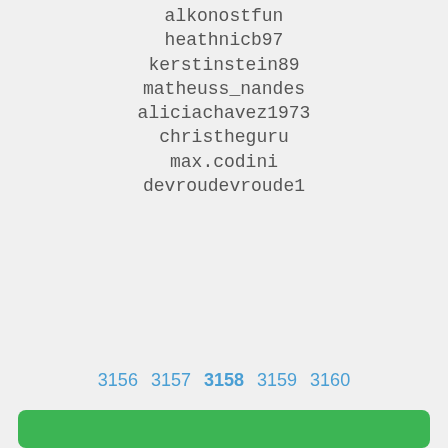alkonostfun
heathnicb97
kerstinstein89
matheuss_nandes
aliciachavez1973
christheguru
max.codini
devroudevroude1
3156  3157  3158  3159  3160